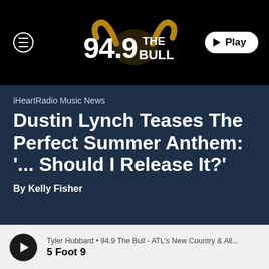[Figure (logo): 94.9 The Bull radio station logo with bull horns graphic on black background, with hamburger menu button on left and Play button on right]
iHeartRadio Music News
Dustin Lynch Teases The Perfect Summer Anthem: '... Should I Release It?'
By Kelly Fisher
Tyler Hubbard • 94.9 The Bull - ATL's New Country & All...
5 Foot 9